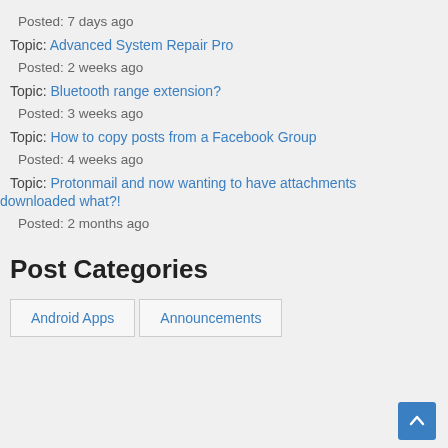Posted: 7 days ago
Topic: Advanced System Repair Pro
Posted: 2 weeks ago
Topic: Bluetooth range extension?
Posted: 3 weeks ago
Topic: How to copy posts from a Facebook Group
Posted: 4 weeks ago
Topic: Protonmail and now wanting to have attachments downloaded what?!
Posted: 2 months ago
Post Categories
Android Apps
Announcements